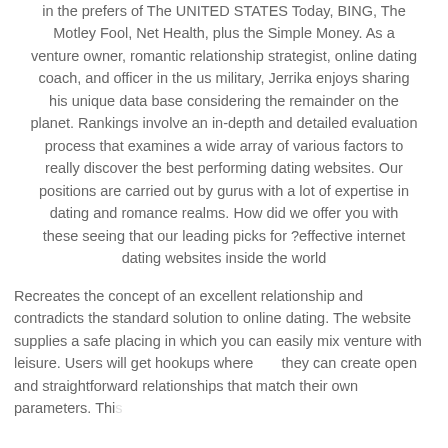in the prefers of The UNITED STATES Today, BING, The Motley Fool, Net Health, plus the Simple Money. As a venture owner, romantic relationship strategist, online dating coach, and officer in the us military, Jerrika enjoys sharing his unique data base considering the remainder on the planet. Rankings involve an in-depth and detailed evaluation process that examines a wide array of various factors to really discover the best performing dating websites. Our positions are carried out by gurus with a lot of expertise in dating and romance realms. How did we offer you with these seeing that our leading picks for ?effective internet dating websites inside the world
Recreates the concept of an excellent relationship and contradicts the standard solution to online dating. The website supplies a safe placing in which you can easily mix venture with leisure. Users will get hookups where they can create open and straightforward relationships that match their own parameters. This